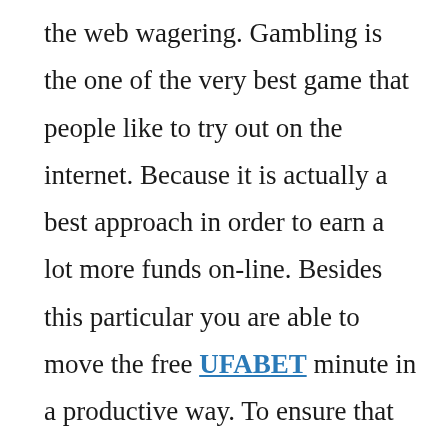the web wagering. Gambling is the one of the very best game that people like to try out on the internet. Because it is actually a best approach in order to earn a lot more funds on-line. Besides this particular you are able to move the free UFABET minute in a productive way. To ensure that is the reason we're supplying this kind of on the internet gambling game for you personally. Very first of all right here we have been planning to inform you in which what are the benefits